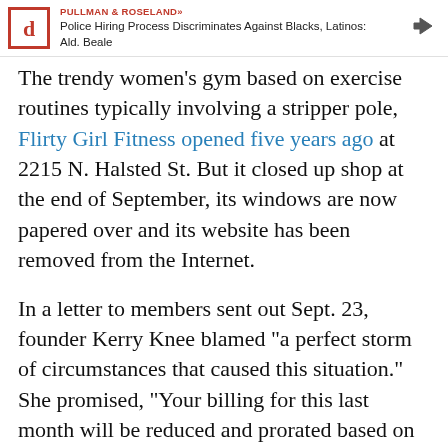PULLMAN & ROSELAND» Police Hiring Process Discriminates Against Blacks, Latinos: Ald. Beale
The trendy women's gym based on exercise routines typically involving a stripper pole, Flirty Girl Fitness opened five years ago at 2215 N. Halsted St. But it closed up shop at the end of September, its windows are now papered over and its website has been removed from the Internet.
In a letter to members sent out Sept. 23, founder Kerry Knee blamed "a perfect storm of circumstances that caused this situation." She promised, "Your billing for this last month will be reduced and prorated based on your individual recurring billing date."
But former member Monica Stabile said she was impressed and followed fully on the day before the